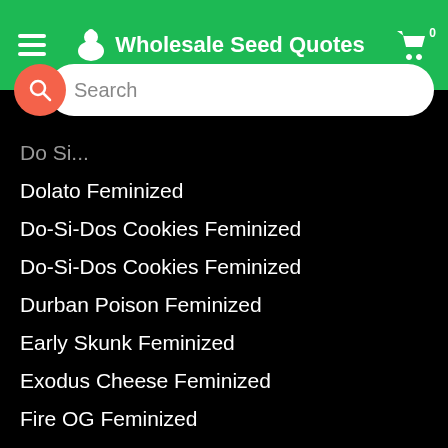Wholesale Seed Quotes
Do Si...
Dolato Feminized
Do-Si-Dos Cookies Feminized
Do-Si-Dos Cookies Feminized
Durban Poison Feminized
Early Skunk Feminized
Exodus Cheese Feminized
Fire OG Feminized
Forbidden Fruit Feminized
Forbidden Zkittlez Feminized
G13 Feminized
Gelato Gorilla Glue Feminized
Gelato Feminized
Ghost Pellezino Haze Feminized
Girl Scout Cheese Feminized